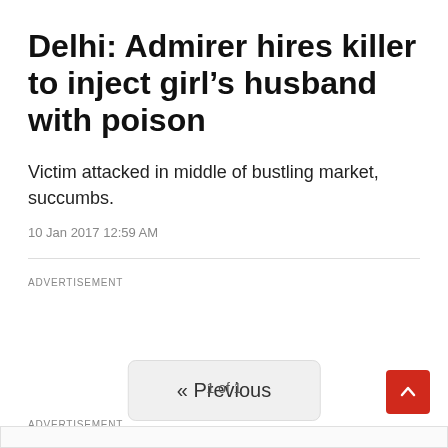Delhi: Admirer hires killer to inject girl’s husband with poison
Victim attacked in middle of bustling market, succumbs.
10 Jan 2017 12:59 AM
ADVERTISEMENT
« Previous
1 of 1
ADVERTISEMENT